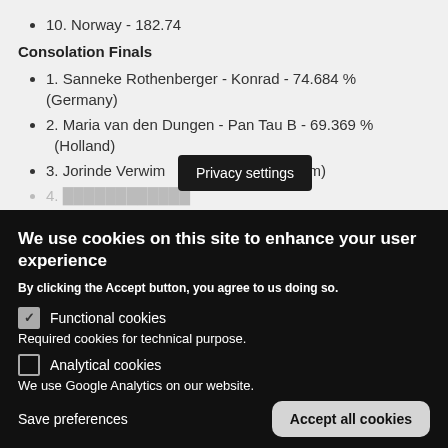10. Norway - 182.74
Consolation Finals
1. Sanneke Rothenberger - Konrad - 74.684 % (Germany)
2. Maria van den Dungen - Pan Tau B - 69.369 % (Holland)
3. Jorinde Verwim[...] 10 % (Belgium)
[Figure (screenshot): Privacy settings tooltip and cookie consent overlay with functional/analytical cookies options and Accept all cookies button]
Privacy settings
We use cookies on this site to enhance your user experience
By clicking the Accept button, you agree to us doing so.
Functional cookies
Required cookies for technical purpose.
Analytical cookies
We use Google Analytics on our website.
Save preferences
Accept all cookies